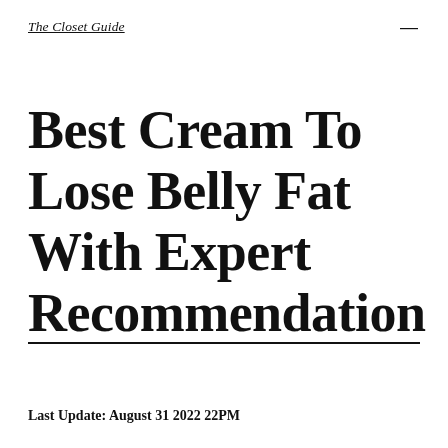The Closet Guide
Best Cream To Lose Belly Fat With Expert Recommendation
Last Update: August 31 2022 22PM